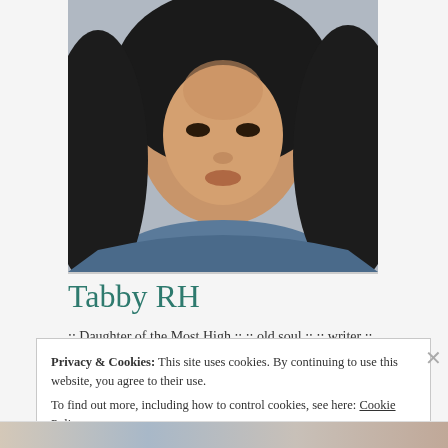[Figure (photo): Portrait photo of a woman with long dark hair, wearing a blue top, face/neck visible, close-up shot]
Tabby RH
:: Daughter of the Most High :: :: old soul :: :: writer ::
View Full Profile →
Privacy & Cookies: This site uses cookies. By continuing to use this website, you agree to their use.
To find out more, including how to control cookies, see here: Cookie Policy
Close and accept